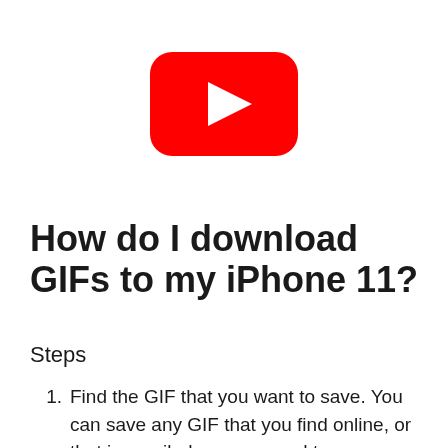[Figure (logo): YouTube logo — red rounded-rectangle with white play triangle]
How do I download GIFs to my iPhone 11?
Steps
Find the GIF that you want to save. You can save any GIF that you find online, or that is emailed or messaged to you.